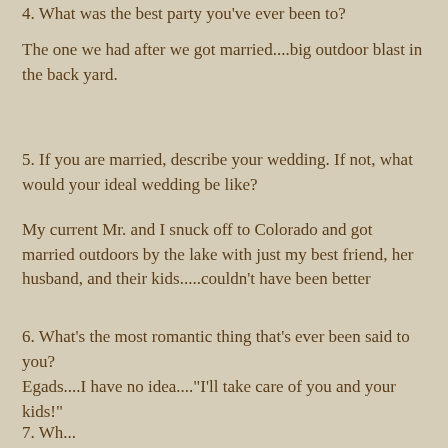4. What was the best party you've ever been to?
The one we had after we got married....big outdoor blast in the back yard.
5. If you are married, describe your wedding. If not, what would your ideal wedding be like?
My current Mr. and I snuck off to Colorado and got married outdoors by the lake with just my best friend, her husband, and their kids.....couldn't have been better
6. What's the most romantic thing that's ever been said to you?
Egads....I have no idea...."I'll take care of you and your kids!"
7. Wh...